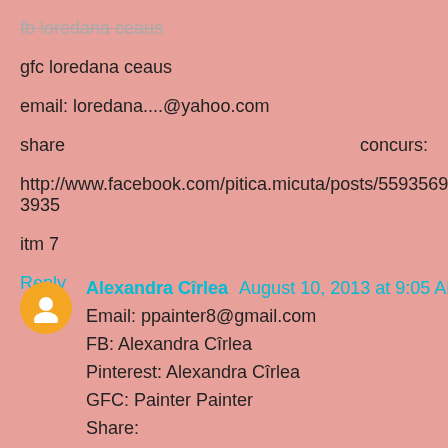fb loredana ceaus
gfc loredana ceaus
email: loredana....@yahoo.com
share                                                 concurs: http://www.facebook.com/pitica.micuta/posts/559356997453935
itm 7
Reply
Alexandra Cîrlea  August 10, 2013 at 9:05 AM
Email: ppainter8@gmail.com
FB: Alexandra Cîrlea
Pinterest: Alexandra Cîrlea
GFC: Painter Painter
Share:
https://www.facebook.com/alexandra.cirlea/posts/323931327742747
Articol:    http://www.bellast.com/fine-multi-color-rhinestone-crystal-mirror-square-frame-elegant-bangle-gold_p31602350.html
Reply